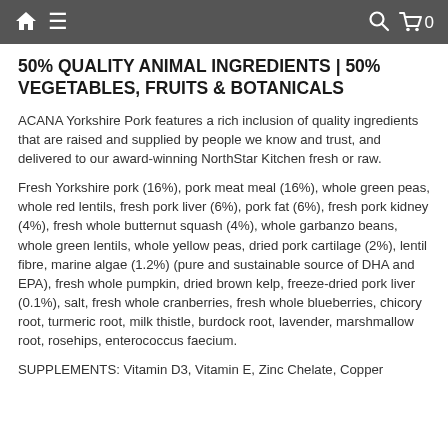Navigation bar with home, menu, search, and cart icons
50% QUALITY ANIMAL INGREDIENTS | 50% VEGETABLES, FRUITS & BOTANICALS
ACANA Yorkshire Pork features a rich inclusion of quality ingredients that are raised and supplied by people we know and trust, and delivered to our award-winning NorthStar Kitchen fresh or raw.
Fresh Yorkshire pork (16%), pork meat meal (16%), whole green peas, whole red lentils, fresh pork liver (6%), pork fat (6%), fresh pork kidney (4%), fresh whole butternut squash (4%), whole garbanzo beans, whole green lentils, whole yellow peas, dried pork cartilage (2%), lentil fibre, marine algae (1.2%) (pure and sustainable source of DHA and EPA), fresh whole pumpkin, dried brown kelp, freeze-dried pork liver (0.1%), salt, fresh whole cranberries, fresh whole blueberries, chicory root, turmeric root, milk thistle, burdock root, lavender, marshmallow root, rosehips, enterococcus faecium.
SUPPLEMENTS: Vitamin D3, Vitamin E, Zinc Chelate, Copper